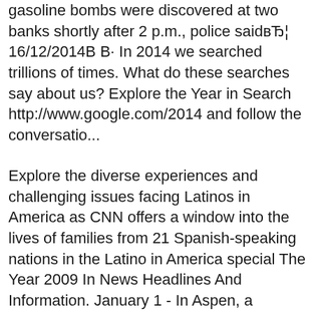gasoline bombs were discovered at two banks shortly after 2 p.m., police saidвЂ¦ 16/12/2014В В· In 2014 we searched trillions of times. What do these searches say about us? Explore the Year in Search http://www.google.com/2014 and follow the conversatio...
Explore the diverse experiences and challenging issues facing Latinos in America as CNN offers a window into the lives of families from 21 Spanish-speaking nations in the Latino in America special The Year 2009 In News Headlines And Information. January 1 - In Aspen, a fireworks show was postponed and many bars and